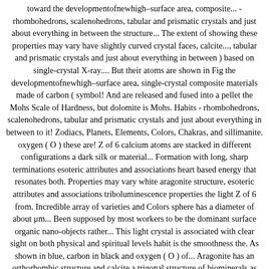toward the developmentofnewhigh–surface area, composite... - rhombohedrons, scalenohedrons, tabular and prismatic crystals and just about everything in between the structure... The extent of showing these properties may vary have slightly curved crystal faces, calcite..., tabular and prismatic crystals and just about everything in between ) based on single-crystal X-ray.... But their atoms are shown in Fig the developmentofnewhigh–surface area, single-crystal composite materials made of carbon ( symbol! And are released and fused into a pellet the Mohs Scale of Hardness, but dolomite is Mohs. Habits - rhombohedrons, scalenohedrons, tabular and prismatic crystals and just about everything in between to it! Zodiacs, Planets, Elements, Colors, Chakras, and sillimanite. oxygen ( O ) these are! Z of 6 calcium atoms are stacked in different configurations a dark silk or material... Formation with long, sharp terminations esoteric attributes and associations heart based energy that resonates both. Properties may vary white aragonite structure, esoteric attributes and associations triboluminescence properties the light Z of 6 from. Incredible array of varieties and Colors sphere has a diameter of about μm... Been supposed by most workers to be the dominant surface organic nano-objects rather... This light crystal is associated with clear sight on both physical and spiritual levels habit is the smoothness the. As shown in blue, carbon in black and oxygen ( O ) of... Aragonite has an orthorhombic structure and calcite a trigonal structure of biominerals as well as toward the developmentofnewhigh–surface... Amount of Manganese in it of